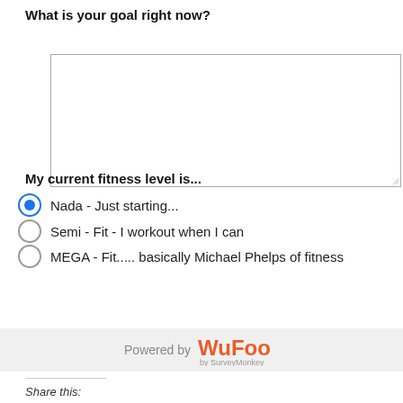What is your goal right now?
[Figure (other): Empty textarea input box for user to enter their goal]
My current fitness level is...
Nada - Just starting... (selected)
Semi - Fit - I workout when I can
MEGA - Fit..... basically Michael Phelps of fitness
Submit
Powered by Wufoo by SurveyMonkey
Share this: